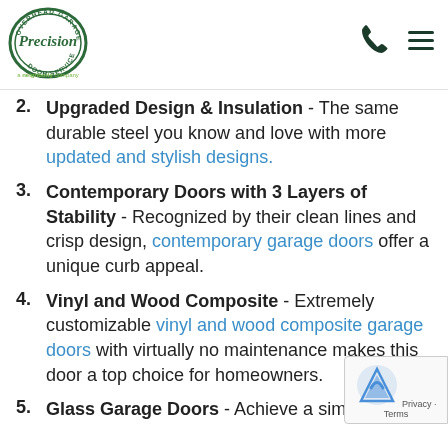Precision Door Service - a Neighborly company
2. Upgraded Design & Insulation - The same durable steel you know and love with more updated and stylish designs.
3. Contemporary Doors with 3 Layers of Stability - Recognized by their clean lines and crisp design, contemporary garage doors offer a unique curb appeal.
4. Vinyl and Wood Composite - Extremely customizable vinyl and wood composite garage doors with virtually no maintenance makes this door a top choice for homeowners.
5. Glass Garage Doors - Achieve a simple